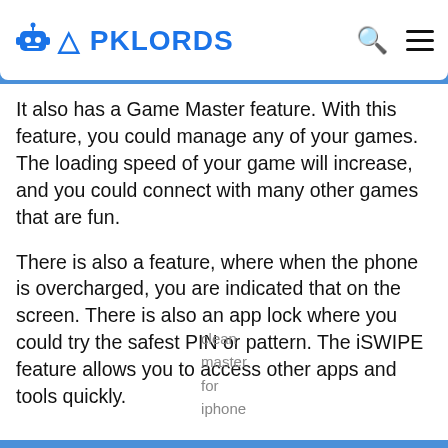APKLORDS
It also has a Game Master feature. With this feature, you could manage any of your games. The loading speed of your game will increase, and you could connect with many other games that are fun.
There is also a feature, where when the phone is overcharged, you are indicated that on the screen. There is also an app lock where you could try the safest PIN or pattern. The iSWIPE feature allows you to access other apps and tools quickly.
clean master for iphone